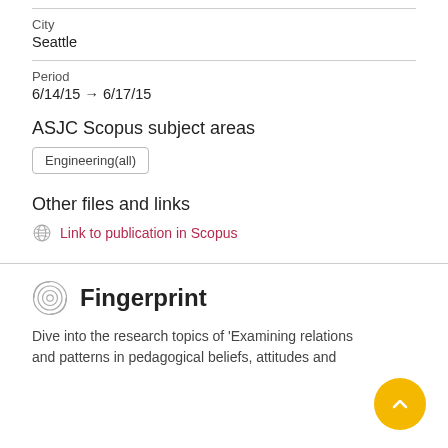City
Seattle
Period
6/14/15 → 6/17/15
ASJC Scopus subject areas
Engineering(all)
Other files and links
Link to publication in Scopus
Fingerprint
Dive into the research topics of 'Examining relations and patterns in pedagogical beliefs, attitudes and